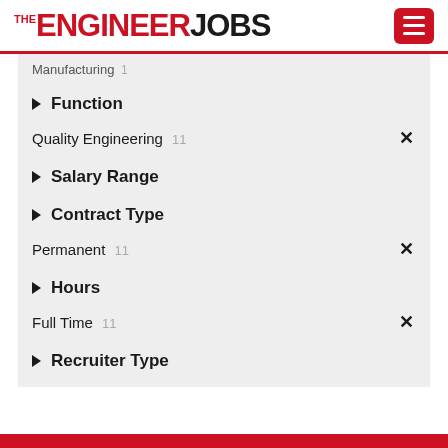THE ENGINEER JOBS
Manufacturing 1
Function
Quality Engineering 11
Salary Range
Contract Type
Permanent 11
Hours
Full Time 11
Recruiter Type